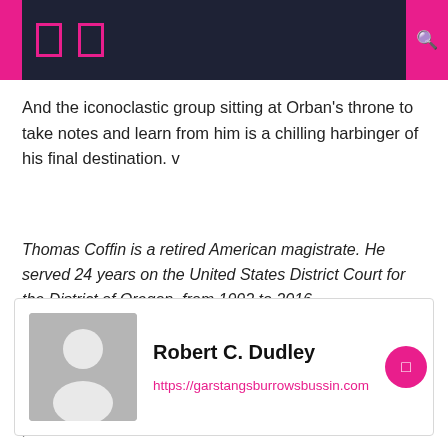And the iconoclastic group sitting at Orban's throne to take notes and learn from him is a chilling harbinger of his final destination. v
Thomas Coffin is a retired American magistrate. He served 24 years on the United States District Court for the District of Oregon, from 1992 to 2016.
Tagged donald trump, supreme court, united states, vice president
Robert C. Dudley
https://garstangsburrowsbussin.com